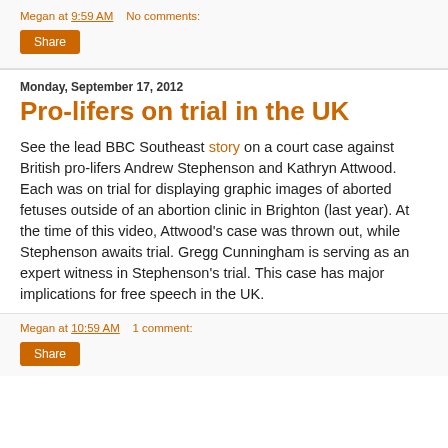Megan at 9:59 AM   No comments:
Share
Monday, September 17, 2012
Pro-lifers on trial in the UK
See the lead BBC Southeast story on a court case against British pro-lifers Andrew Stephenson and Kathryn Attwood. Each was on trial for displaying graphic images of aborted fetuses outside of an abortion clinic in Brighton (last year). At the time of this video, Attwood's case was thrown out, while Stephenson awaits trial. Gregg Cunningham is serving as an expert witness in Stephenson's trial. This case has major implications for free speech in the UK.
Megan at 10:59 AM   1 comment:
Share